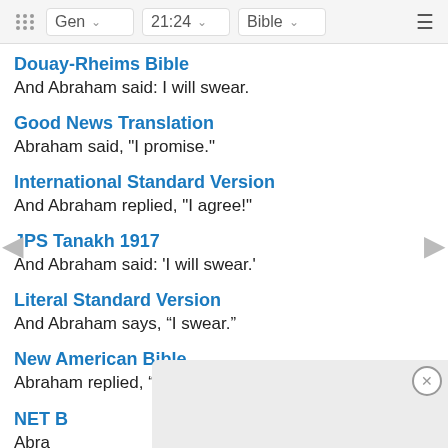Gen | 21:24 | Bible
Douay-Rheims Bible
And Abraham said: I will swear.
Good News Translation
Abraham said, "I promise."
International Standard Version
And Abraham replied, "I agree!"
JPS Tanakh 1917
And Abraham said: 'I will swear.'
Literal Standard Version
And Abraham says, “I swear.”
New American Bible
Abraham replied, “I so swear.”
NET Bible
Abraham...